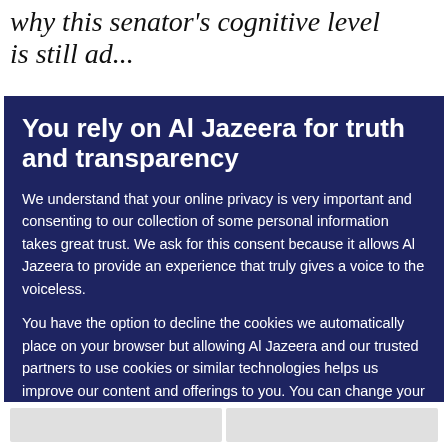why this senator's cognitive level is still…
You rely on Al Jazeera for truth and transparency
We understand that your online privacy is very important and consenting to our collection of some personal information takes great trust. We ask for this consent because it allows Al Jazeera to provide an experience that truly gives a voice to the voiceless.

You have the option to decline the cookies we automatically place on your browser but allowing Al Jazeera and our trusted partners to use cookies or similar technologies helps us improve our content and offerings to you. You can change your privacy preferences at any time by selecting 'Cookie preferences' at the bottom of your screen. To learn more, please view our Cookie Policy.